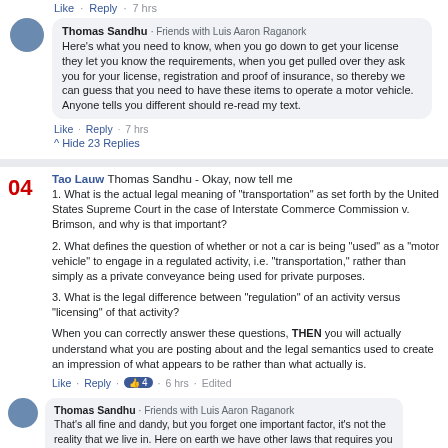Like · Reply · 7 hrs
Thomas Sandhu · Friends with Luis Aaron Raganork
Here's what you need to know, when you go down to get your license they let you know the requirements, when you get pulled over they ask you for your license, registration and proof of insurance, so thereby we can guess that you need to have these items to operate a motor vehicle. Anyone tells you different should re-read my text.
Like · Reply · 7 hrs
Hide 23 Replies
04
Tao Lauw Thomas Sandhu - Okay, now tell me
1. What is the actual legal meaning of "transportation" as set forth by the United States Supreme Court in the case of Interstate Commerce Commission v. Brimson, and why is that important?
2. What defines the question of whether or not a car is being "used" as a "motor vehicle" to engage in a regulated activity, i.e. "transportation," rather than simply as a private conveyance being used for private purposes.
3. What is the legal difference between "regulation" of an activity versus "licensing" of that activity?
When you can correctly answer these questions, THEN you will actually understand what you are posting about and the legal semantics used to create an impression of what appears to be rather than what actually is.
Like · Reply · 4 · 6 hrs · Edited
Thomas Sandhu · Friends with Luis Aaron Raganork
That's all fine and dandy, but you forget one important factor, it's not the reality that we live in. Here on earth we have other laws that requires you to have a driver's license to operate a motorized vehicle, you must have your car registered and you must have car insurance. You can post all your reasons why this is unconstitutional, but at the end of the day, you will 1) ignore these requirements and face what I'm sure you think are unlawful fines and incarceration, 2) you will obey all these requirements and complain about it on Facebook or 3) realize that these regulations are valid, and proceed to follow the law.